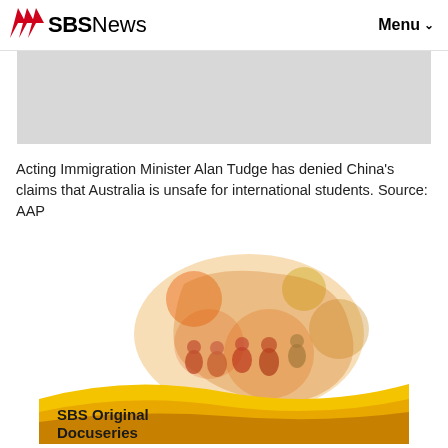SBS News   Menu
[Figure (photo): Grey placeholder rectangle representing a news article image]
Acting Immigration Minister Alan Tudge has denied China's claims that Australia is unsafe for international students. Source: AAP
[Figure (illustration): SBS Original Docuseries promotional image with orange/red Australia map silhouette and multicultural figures, yellow wave banner at bottom reading 'SBS Original Docuseries']